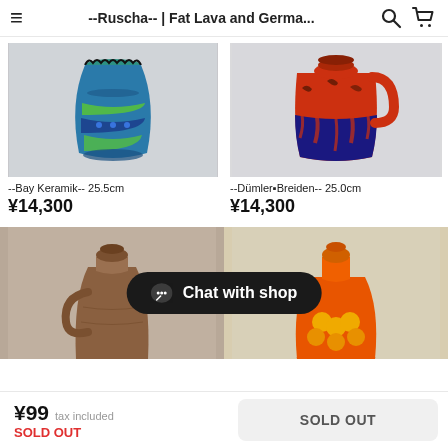--Ruscha-- | Fat Lava and Germa...
[Figure (photo): Blue-green ceramic vase with ruffled top edge and circular pattern decoration, 25.5cm]
--Bay Keramik-- 25.5cm
¥14,300
[Figure (photo): Red and blue ceramic jug/pitcher with textured lava glaze, 25.0cm]
--Dümler＆Breiden-- 25.0cm
¥14,300
[Figure (photo): Brown ceramic vase with handle, partially visible]
[Figure (photo): Orange and yellow ceramic vase partially visible]
Chat with shop
¥99 tax included  SOLD OUT  |  SOLD OUT